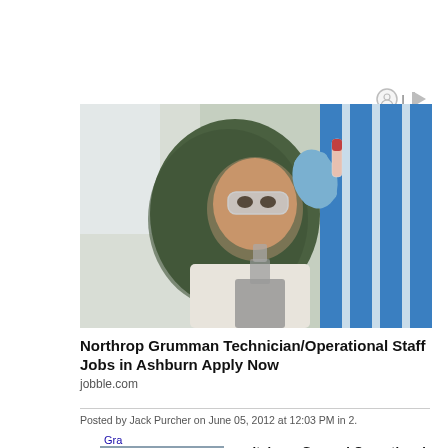[Figure (photo): Scientist woman wearing hijab and safety goggles holding a test tube in a laboratory with a microscope visible]
Northrop Grumman Technician/Operational Staff Jobs in Ashburn Apply Now
jobble.com
Posted by Jack Purcher on June 05, 2012 at 12:03 PM in 2.
capital one General Operational Manager Jobs in Ashburn Apply Now
jobble.com
[Figure (photo): People working around a table with laptops and tablets in an office setting]
Gra